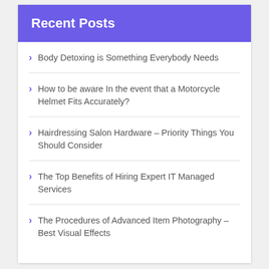Recent Posts
Body Detoxing is Something Everybody Needs
How to be aware In the event that a Motorcycle Helmet Fits Accurately?
Hairdressing Salon Hardware – Priority Things You Should Consider
The Top Benefits of Hiring Expert IT Managed Services
The Procedures of Advanced Item Photography – Best Visual Effects